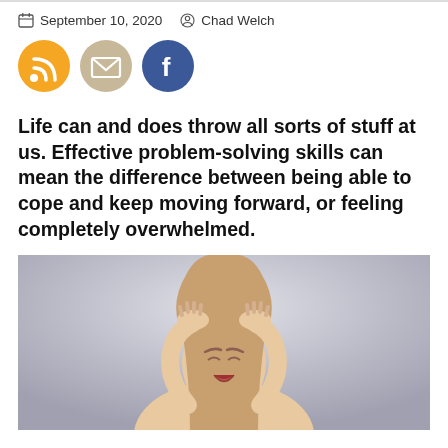September 10, 2020  Chad Welch
[Figure (illustration): Three social media icon circles: orange RSS feed icon, beige/tan email envelope icon, blue Facebook 'f' icon]
Life can and does throw all sorts of stuff at us. Effective problem-solving skills can mean the difference between being able to cope and keep moving forward, or feeling completely overwhelmed.
[Figure (photo): A young woman with long hair grabbing her head with both hands, mouth open in stress or overwhelm, against a light gray background]